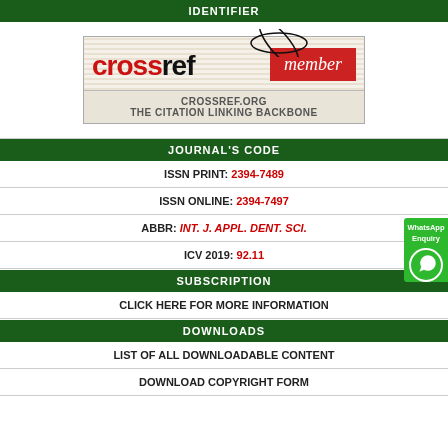IDENTIFIER
[Figure (logo): CrossRef member logo with text CROSSREF.ORG THE CITATION LINKING BACKBONE]
JOURNAL'S CODE
ISSN PRINT: 2394-7489
ISSN ONLINE: 2394-7497
ABBR: INT. J. APPL. DENT. SCI.
ICV 2019: 92.11
SUBSCRIPTION
CLICK HERE FOR MORE INFORMATION
DOWNLOADS
LIST OF ALL DOWNLOADABLE CONTENT
DOWNLOAD COPYRIGHT FORM